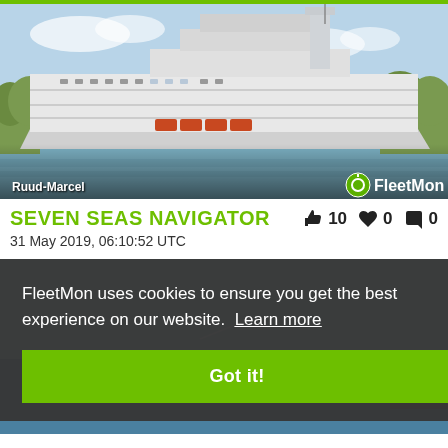[Figure (photo): Cruise ship Seven Seas Navigator photographed on a calm river, white vessel with multiple decks, lifeboats visible, green trees in background. Photo credit: Ruud-Marcel. FleetMon logo in lower right.]
SEVEN SEAS NAVIGATOR
31 May 2019, 06:10:52 UTC
[Figure (photo): Second ship photo partially visible, overlaid with a cookie consent dialog from FleetMon.]
FleetMon uses cookies to ensure you get the best experience on our website. Learn more
Got it!